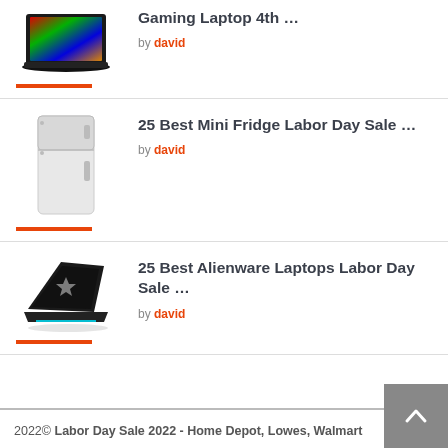[Figure (photo): Gaming laptop with colorful keyboard viewed from front-left angle]
Gaming Laptop 4th …
by david
[Figure (photo): White mini fridge / small refrigerator]
25 Best Mini Fridge Labor Day Sale …
by david
[Figure (photo): Alienware gaming laptop viewed from front-left angle]
25 Best Alienware Laptops Labor Day Sale …
by david
2022© Labor Day Sale 2022 - Home Depot, Lowes, Walmart